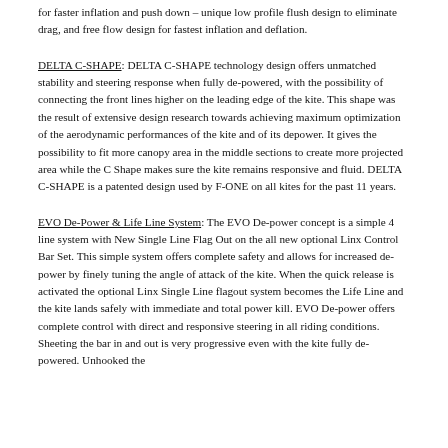for faster inflation and push down – unique low profile flush design to eliminate drag, and free flow design for fastest inflation and deflation.
DELTA C-SHAPE: DELTA C-SHAPE technology design offers unmatched stability and steering response when fully de-powered, with the possibility of connecting the front lines higher on the leading edge of the kite. This shape was the result of extensive design research towards achieving maximum optimization of the aerodynamic performances of the kite and of its depower. It gives the possibility to fit more canopy area in the middle sections to create more projected area while the C Shape makes sure the kite remains responsive and fluid. DELTA C-SHAPE is a patented design used by F-ONE on all kites for the past 11 years.
EVO De-Power & Life Line System: The EVO De-power concept is a simple 4 line system with New Single Line Flag Out on the all new optional Linx Control Bar Set. This simple system offers complete safety and allows for increased de-power by finely tuning the angle of attack of the kite. When the quick release is activated the optional Linx Single Line flagout system becomes the Life Line and the kite lands safely with immediate and total power kill. EVO De-power offers complete control with direct and responsive steering in all riding conditions. Sheeting the bar in and out is very progressive even with the kite fully de-powered. Unhooked the